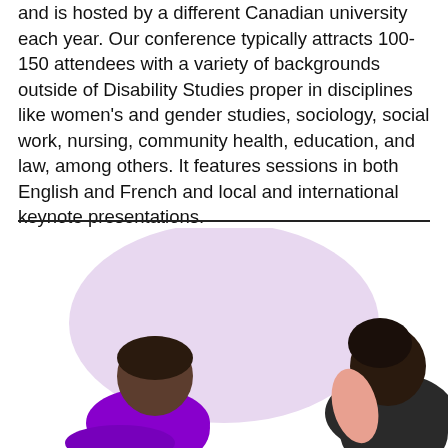and is hosted by a different Canadian university each year. Our conference typically attracts 100-150 attendees with a variety of backgrounds outside of Disability Studies proper in disciplines like women's and gender studies, sociology, social work, nursing, community health, education, and law, among others. It features sessions in both English and French and local and international keynote presentations.
[Figure (illustration): Illustration of two people seated, one wearing a purple top with dark skin tone on the left, and one on the right side partially visible, with a large light lavender oval shape in the background.]